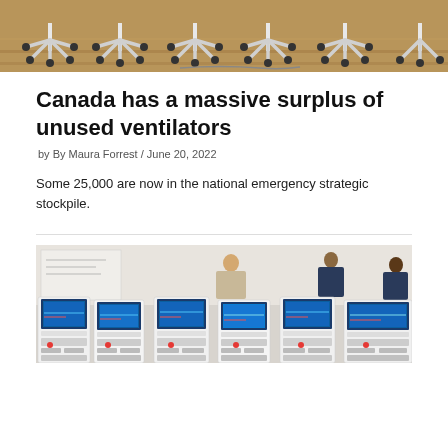[Figure (photo): Photo showing the bottom bases and wheels of multiple office/medical chairs arranged in a row on a wooden floor]
Canada has a massive surplus of unused ventilators
by By Maura Forrest / June 20, 2022
Some 25,000 are now in the national emergency strategic stockpile.
[Figure (photo): Photo showing workers in masks inspecting and checking multiple ventilator machines with monitors displaying patient data, arranged in rows in what appears to be a testing or inspection facility]